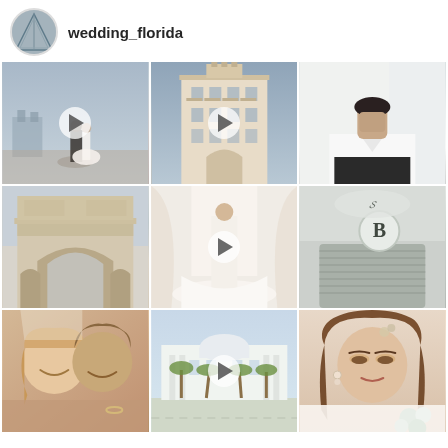wedding_florida
[Figure (photo): Instagram grid of wedding_florida account showing 9 photos/videos: couple dancing outdoors with castle, ornate building exterior (video), groom portrait, Arc de Triomphe detail, bride in window (video), Bentley car logo, couple smiling close-up, venue building (video), bride portrait with flowers]
wedding_florida